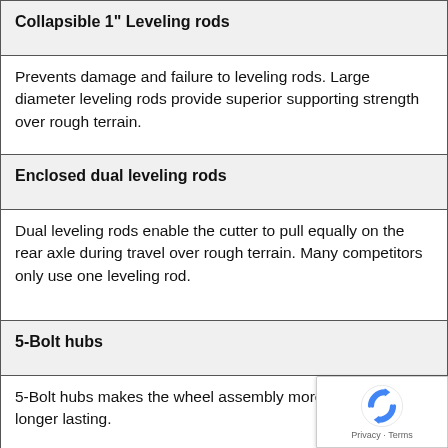| Collapsible 1" Leveling rods |
| Prevents damage and failure to leveling rods. Large diameter leveling rods provide superior supporting strength over rough terrain. |
| Enclosed dual leveling rods |
| Dual leveling rods enable the cutter to pull equally on the rear axle during travel over rough terrain. Many competitors only use one leveling rod. |
| 5-Bolt hubs |
| 5-Bolt hubs makes the wheel assembly more durable and longer lasting. |
| Drain holes in wheel rims |
| Allows water to drain from wheels mounted on fol up wing. |